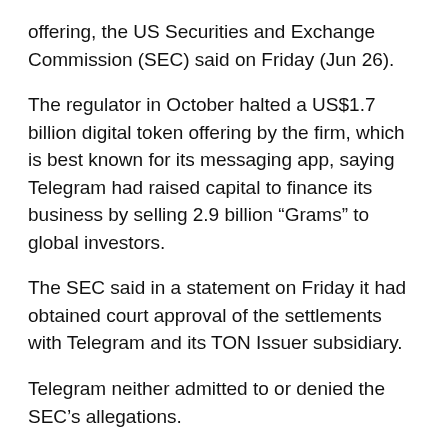offering, the US Securities and Exchange Commission (SEC) said on Friday (Jun 26).
The regulator in October halted a US$1.7 billion digital token offering by the firm, which is best known for its messaging app, saying Telegram had raised capital to finance its business by selling 2.9 billion “Grams” to global investors.
The SEC said in a statement on Friday it had obtained court approval of the settlements with Telegram and its TON Issuer subsidiary.
Telegram neither admitted to or denied the SEC’s allegations.
The agency has been seeking to crack down on the fledgling cryptocurrency industry. SEC has taken the position that initial coin offerings are securities offerings and therefore subject to SEC offering rules.